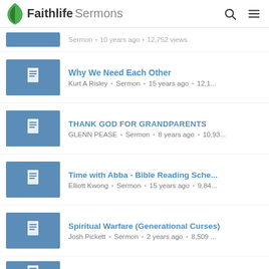Faithlife Sermons
Sermon · 10 years ago · 12,752 views (partial, truncated at top)
Why We Need Each Other — Kurt A Risley · Sermon · 15 years ago · 12,1...
THANK GOD FOR GRANDPARENTS — GLENN PEASE · Sermon · 8 years ago · 10,93...
Time with Abba - Bible Reading Sche... — Elliott Kwong · Sermon · 15 years ago · 9,84...
Spiritual Warfare (Generational Curses) — Josh Pickett · Sermon · 2 years ago · 8,509...
John 6:59-71 - Three Types of Follo... (partial, truncated at bottom)